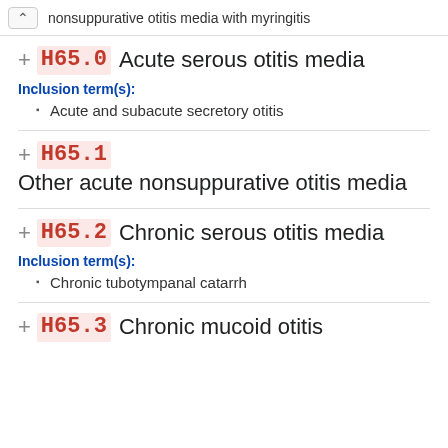nonsuppurative otitis media with myringitis
+ H65.0 Acute serous otitis media
Inclusion term(s):
Acute and subacute secretory otitis
+ H65.1 Other acute nonsuppurative otitis media
+ H65.2 Chronic serous otitis media
Inclusion term(s):
Chronic tubotympanal catarrh
+ H65.3 Chronic mucoid otitis